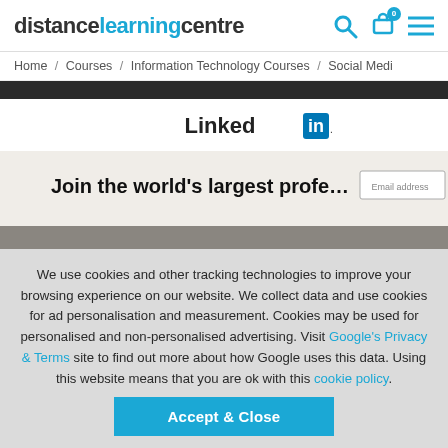distancelearningcentre
Home / Courses / Information Technology Courses / Social Medi
[Figure (screenshot): LinkedIn website screenshot showing 'Join the world's largest profe...' text and an email address field, photographed on a device]
We use cookies and other tracking technologies to improve your browsing experience on our website. We collect data and use cookies for ad personalisation and measurement. Cookies may be used for personalised and non-personalised advertising. Visit Google's Privacy & Terms site to find out more about how Google uses this data. Using this website means that you are ok with this cookie policy.
Accept & Close